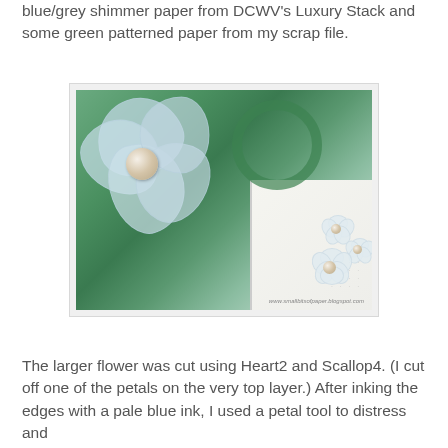blue/grey shimmer paper from DCWV's Luxury Stack and some green patterned paper from my scrap file.
[Figure (photo): Close-up photo of a handmade card featuring a large light blue hydrangea-style flower with a pearl center, smaller white flowers with pearl centers, and green leaf/vine elements on a blue-green patterned background. Watermark: www.smallbitsofpaper.blogspot.com]
The larger flower was cut using Heart2 and Scallop4.  (I cut off one of the petals on the very top layer.)  After inking the edges with a pale blue ink, I used a petal tool to distress and